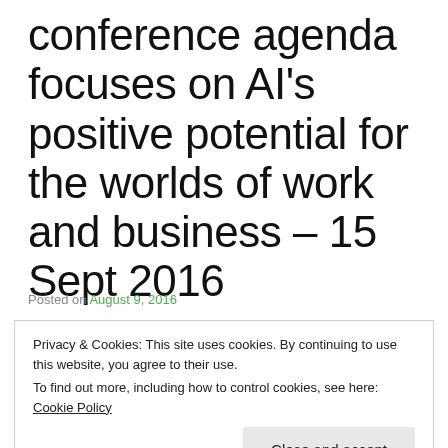conference agenda focuses on AI's positive potential for the worlds of work and business – 15 Sept 2016
Posted on August 9, 2016
Privacy & Cookies: This site uses cookies. By continuing to use this website, you agree to their use.
To find out more, including how to control cookies, see here: Cookie Policy
Close and accept